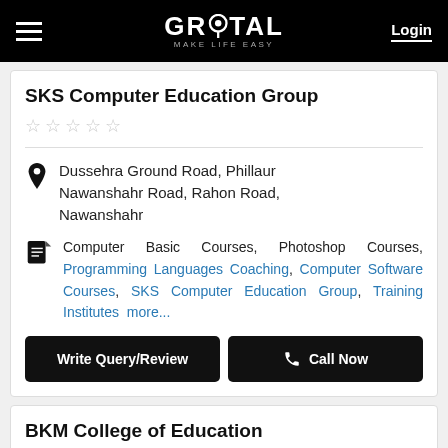GROTAL - MAKE LIFE EASY | Login
SKS Computer Education Group
★★★★★ (empty stars)
Dussehra Ground Road, Phillaur Nawanshahr Road, Rahon Road, Nawanshahr
Computer Basic Courses, Photoshop Courses, Programming Languages Coaching, Computer Software Courses, SKS Computer Education Group, Training Institutes  more...
Write Query/Review | Call Now
BKM College of Education